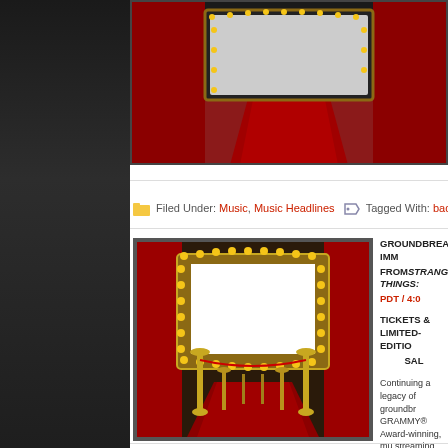[Figure (photo): Red carpet / stage curtain photo at top]
Filed Under: Music, Music Headlines   Tagged With: bad, decades
[Figure (photo): Theater marquee with red curtains and red carpet, gold stanchions]
GROUNDBREAKING IMM... FROM STRANGER THINGS: PDT / 4:0...
TICKETS & LIMITED-EDITI... SAL...
Continuing a legacy of groundbr... GRAMMY® Award-winning, mu... streaming event, KORN: MONU...
Scheduled for Saturday, April 24